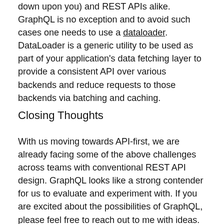down upon you) and REST APIs alike. GraphQL is no exception and to avoid such cases one needs to use a dataloader. DataLoader is a generic utility to be used as part of your application's data fetching layer to provide a consistent API over various backends and reduce requests to those backends via batching and caching.
Closing Thoughts
With us moving towards API-first, we are already facing some of the above challenges across teams with conventional REST API design. GraphQL looks like a strong contender for us to evaluate and experiment with. If you are excited about the possibilities of GraphQL, please feel free to reach out to me with ideas.